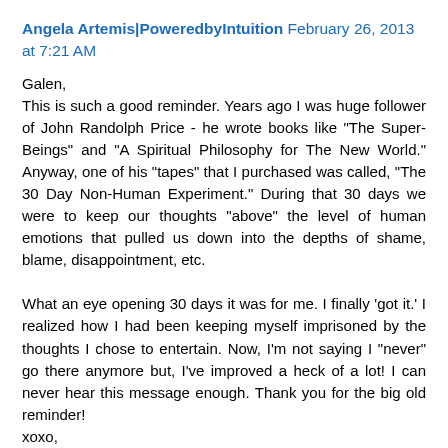Angela Artemis|PoweredbyIntuition  February 26, 2013 at 7:21 AM
Galen,
This is such a good reminder. Years ago I was huge follower of John Randolph Price - he wrote books like "The Super-Beings" and "A Spiritual Philosophy for The New World." Anyway, one of his "tapes" that I purchased was called, "The 30 Day Non-Human Experiment." During that 30 days we were to keep our thoughts "above" the level of human emotions that pulled us down into the depths of shame, blame, disappointment, etc.

What an eye opening 30 days it was for me. I finally 'got it.' I realized how I had been keeping myself imprisoned by the thoughts I chose to entertain. Now, I'm not saying I "never" go there anymore but, I've improved a heck of a lot! I can never hear this message enough. Thank you for the big old reminder!
xoxo,
Angela
Reply